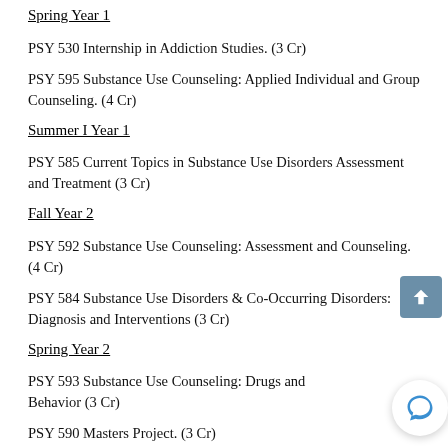Spring Year 1
PSY 530 Internship in Addiction Studies. (3 Cr)
PSY 595 Substance Use Counseling: Applied Individual and Group Counseling. (4 Cr)
Summer I Year 1
PSY 585 Current Topics in Substance Use Disorders Assessment and Treatment (3 Cr)
Fall Year 2
PSY 592 Substance Use Counseling: Assessment and Counseling. (4 Cr)
PSY 584 Substance Use Disorders & Co-Occurring Disorders: Diagnosis and Interventions (3 Cr)
Spring Year 2
PSY 593 Substance Use Counseling: Drugs and Behavior (3 Cr)
PSY 590 Masters Project. (3 Cr)
Summer II Year 2